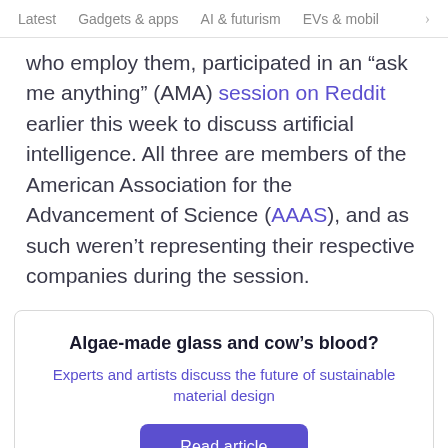Latest   Gadgets & apps   AI & futurism   EVs & mobil  >
who employ them, participated in an “ask me anything” (AMA) session on Reddit earlier this week to discuss artificial intelligence. All three are members of the American Association for the Advancement of Science (AAAS), and as such weren’t representing their respective companies during the session.
Algae-made glass and cow’s blood?
Experts and artists discuss the future of sustainable material design
Read article